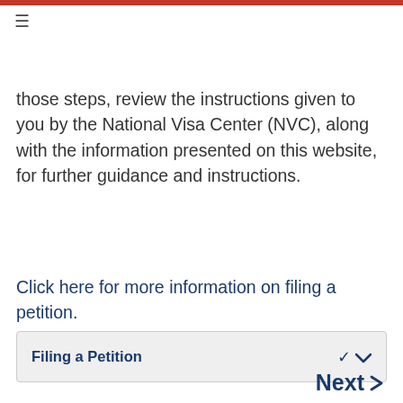≡
those steps, review the instructions given to you by the National Visa Center (NVC), along with the information presented on this website, for further guidance and instructions.
Click here for more information on filing a petition.
Filing a Petition
Last modified: May 9, 2022
Next